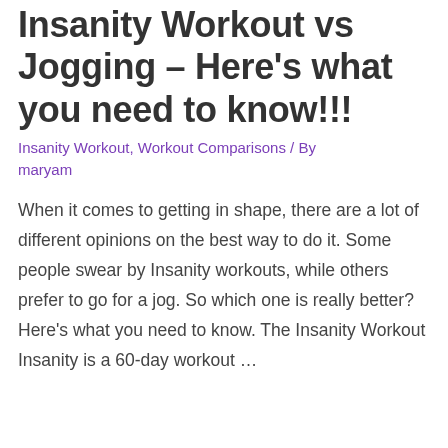Insanity Workout vs Jogging – Here's what you need to know!!!
Insanity Workout, Workout Comparisons / By maryam
When it comes to getting in shape, there are a lot of different opinions on the best way to do it. Some people swear by Insanity workouts, while others prefer to go for a jog. So which one is really better? Here's what you need to know. The Insanity Workout Insanity is a 60-day workout ...